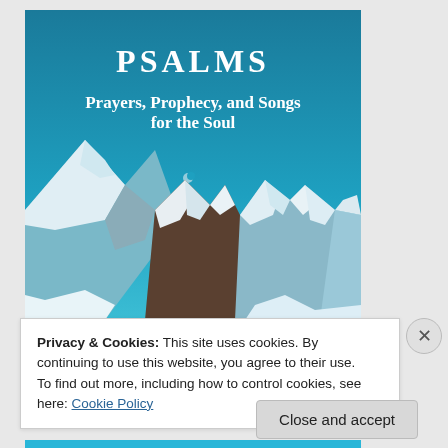[Figure (illustration): Book cover for 'PSALMS: Prayers, Prophecy, and Songs for the Soul' showing snowy mountain peaks under a teal/blue sky with a crescent moon visible.]
Privacy & Cookies: This site uses cookies. By continuing to use this website, you agree to their use.
To find out more, including how to control cookies, see here: Cookie Policy
Close and accept